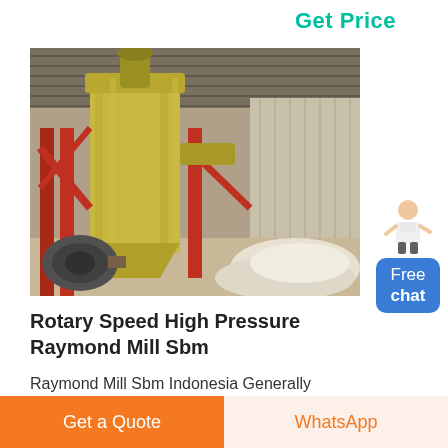Get Price
[Figure (photo): Industrial yellow Raymond mill dust collector system inside a warehouse, with red metal supports, large yellow cylindrical cyclone, fan motor at base, and piles of white powder material on the right.]
Rotary Speed High Pressure Raymond Mill Sbm
Raymond Mill Sbm Indonesia Generally called raymond mill or raymond machine